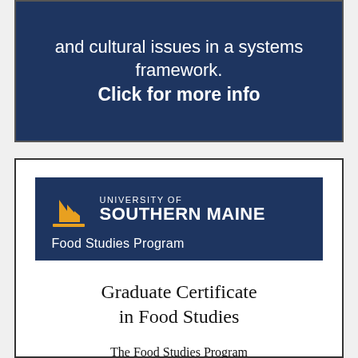[Figure (other): Dark navy blue banner with white text: 'and cultural issues in a systems framework. Click for more info']
[Figure (logo): University of Southern Maine Food Studies Program logo — navy blue background with gold sail icon, white text 'UNIVERSITY OF SOUTHERN MAINE' and 'Food Studies Program']
Graduate Certificate in Food Studies
The Food Studies Program